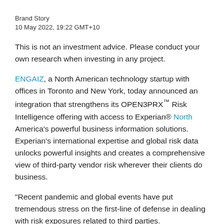Brand Story
10 May 2022, 19:22 GMT+10
This is not an investment advice. Please conduct your own research when investing in any project.
ENGAIZ, a North American technology startup with offices in Toronto and New York, today announced an integration that strengthens its OPEN3PRX™ Risk Intelligence offering with access to Experian® North America's powerful business information solutions. Experian's international expertise and global risk data unlocks powerful insights and creates a comprehensive view of third-party vendor risk wherever their clients do business.
"Recent pandemic and global events have put tremendous stress on the first-line of defense in dealing with risk exposures related to third parties.